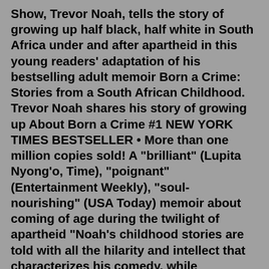Show, Trevor Noah, tells the story of growing up half black, half white in South Africa under and after apartheid in this young readers' adaptation of his bestselling adult memoir Born a Crime: Stories from a South African Childhood. Trevor Noah shares his story of growing up About Born a Crime #1 NEW YORK TIMES BESTSELLER • More than one million copies sold! A "brilliant" (Lupita Nyong'o, Time), "poignant" (Entertainment Weekly), "soul-nourishing" (USA Today) memoir about coming of age during the twilight of apartheid "Noah's childhood stories are told with all the hilarity and intellect that characterizes his comedy, while illuminating a dark ...Jun 04, 2019 · The comedian and "Daily Show" host's new book "It's Trevor Noah: Born a Crime: Stories from a South African Childhood" — a young adult adaptation of his 2016 autobiography — isn't watered down ... Trevor Noah is a South African comedian, political commentator, and television host. He is the current host of The Daily Show, an American satirical news program on